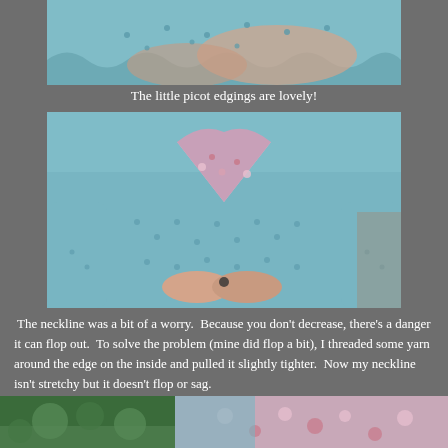[Figure (photo): Close-up photo of light blue knitted lace cuffs/edgings with picot detail, worn on wrists]
The little picot edgings are lovely!
[Figure (photo): Close-up of person wearing a light blue lace knitted sweater with V-neckline, floral fabric visible at neckline, hands clasping the front]
The neckline was a bit of a worry.  Because you don't decrease, there's a danger it can flop out.  To solve the problem (mine did flop a bit), I threaded some yarn around the edge on the inside and pulled it slightly tighter.  Now my neckline isn't stretchy but it doesn't flop or sag.
[Figure (photo): Two partial photos at bottom: left shows green foliage/garden scene, right shows person wearing floral fabric]